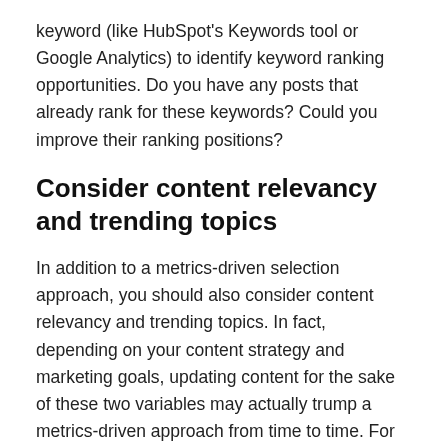keyword (like HubSpot's Keywords tool or Google Analytics) to identify keyword ranking opportunities. Do you have any posts that already rank for these keywords? Could you improve their ranking positions?
Consider content relevancy and trending topics
In addition to a metrics-driven selection approach, you should also consider content relevancy and trending topics. In fact, depending on your content strategy and marketing goals, updating content for the sake of these two variables may actually trump a metrics-driven approach from time to time. For instance, we recently found that a lot of our prospects and customers were asking questions about local search. While we'd already published a post about this very topic, it had become a